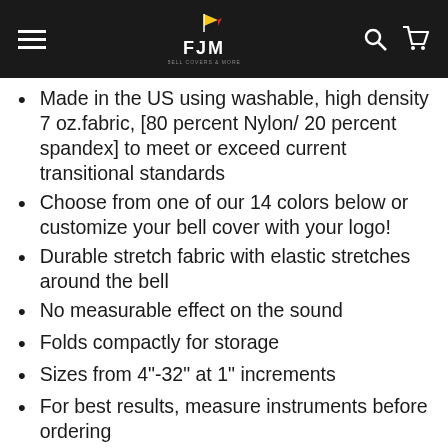FJM
Made in the US using washable, high density 7 oz.fabric, [80 percent Nylon/ 20 percent spandex] to meet or exceed current transitional standards
Choose from one of our 14 colors below or customize your bell cover with your logo!
Durable stretch fabric with elastic stretches around the bell
No measurable effect on the sound
Folds compactly for storage
Sizes from 4"-32" at 1" increments
For best results, measure instruments before ordering